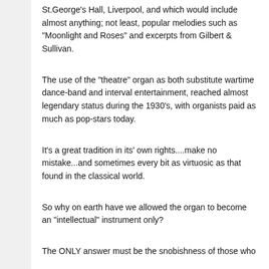St.George's Hall, Liverpool, and which would include almost anything; not least, popular melodies such as "Moonlight and Roses" and excerpts from Gilbert & Sullivan.
The use of the "theatre" organ as both substitute wartime dance-band and interval entertainment, reached almost legendary status during the 1930's, with organists paid as much as pop-stars today.
It's a great tradition in its' own rights....make no mistake...and sometimes every bit as virtuosic as that found in the classical world.
So why on earth have we allowed the organ to become an "intellectual" instrument only?
The ONLY answer must be the snobishness of those who